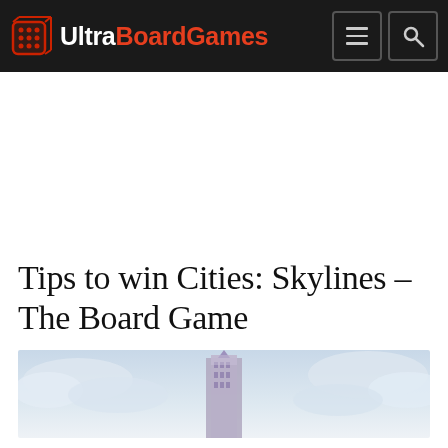UltraBoardGames
Tips to win Cities: Skylines – The Board Game
[Figure (photo): Hero image showing a cityscape building against a light blue cloudy sky, partial crop showing the top of a tall building]